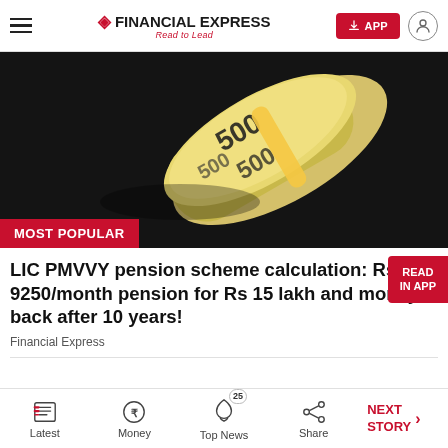FINANCIAL EXPRESS — Read to Lead
[Figure (photo): Roll of Indian currency notes (500 rupee notes) on a dark background with a yellow band, close-up photo used as article hero image. Overlaid with 'MOST POPULAR' badge in red.]
LIC PMVVY pension scheme calculation: Rs 9250/month pension for Rs 15 lakh and money back after 10 years!
Financial Express
Latest | Money | Top News 25 | Share | NEXT STORY